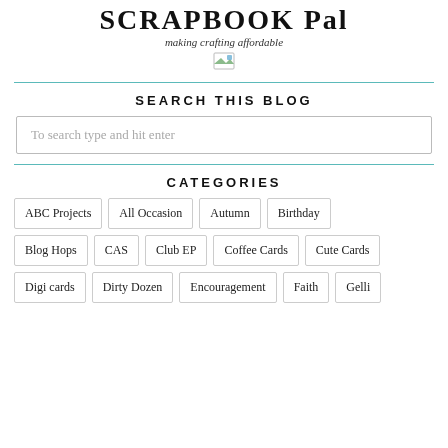SCRAPBOOK Pal
making crafting affordable
SEARCH THIS BLOG
To search type and hit enter
CATEGORIES
ABC Projects
All Occasion
Autumn
Birthday
Blog Hops
CAS
Club EP
Coffee Cards
Cute Cards
Digi cards
Dirty Dozen
Encouragement
Faith
Gelli